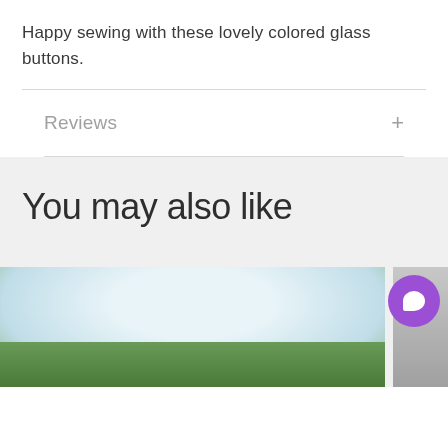Happy sewing with these lovely colored glass buttons.
Reviews
You may also like
[Figure (photo): Bottom portion of a product photo showing green glass buttons against a light blue background, with a partial second product photo on the right. A purple chat bubble icon overlays the images.]